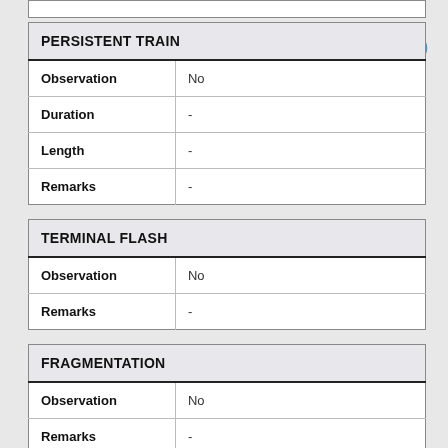|  |  |
| PERSISTENT TRAIN |  |
| --- | --- |
| Observation | No |
| Duration | - |
| Length | - |
| Remarks | - |
| TERMINAL FLASH |  |
| --- | --- |
| Observation | No |
| Remarks | - |
| FRAGMENTATION |  |
| --- | --- |
| Observation | No |
| Remarks | - |